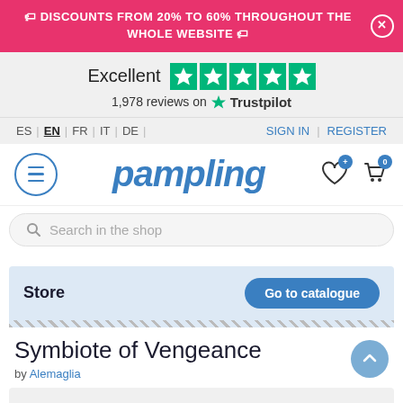🏷 DISCOUNTS FROM 20% TO 60% THROUGHOUT THE WHOLE WEBSITE 🏷
[Figure (screenshot): Trustpilot rating bar showing Excellent rating with 5 green stars and 1,978 reviews]
1,978 reviews on Trustpilot
ES | EN | FR | IT | DE | SIGN IN | REGISTER
[Figure (logo): Pampling logo with hamburger menu icon, cursive blue pampling text, wishlist heart icon with + badge, and cart icon with 0 badge]
Search in the shop
Store
Symbiote of Vengeance
by Alemaglia